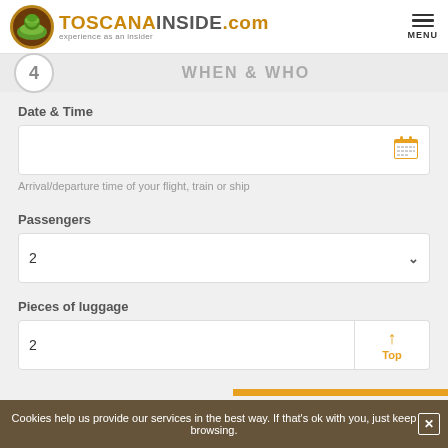TOSCANAINSIDE.com experience as an insider | MENU
4  WHEN & WHO
Date & Time
[Figure (screenshot): Date/time input box with calendar icon]
Arrival/departure time of your flight, train or ship
Passengers
[Figure (screenshot): Passengers dropdown showing value 2]
Pieces of luggage
[Figure (screenshot): Luggage input showing 2 with Top/up button]
Cookies help us provide our services in the best way. If that's ok with you, just keep browsing.